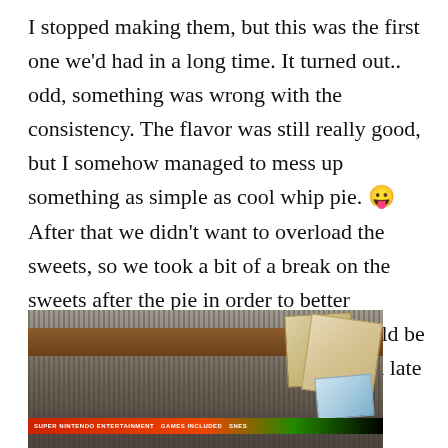I stopped making them, but this was the first one we'd had in a long time. It turned out.. odd, something was wrong with the consistency. The flavor was still really good, but I somehow managed to mess up something as simple as cool whip pie. 😛 After that we didn't want to overload the sweets, so we took a bit of a break on the sweets after the pie in order to better appreciate SB/Valentino's cake that would be coming up soon. In the meantime I got a late Christmas gift from a friend, a Super Nintendo Classic!
[Figure (photo): Photo of a Super Nintendo Classic console box on a striped surface/table, with cardboard/paper items visible in the upper right. A red and multicolor banner is visible along the bottom of the box.]